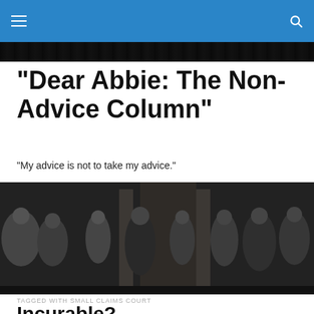"Dear Abbie: The Non-Advice Column"
"My advice is not to take my advice."
[Figure (photo): Black and white photograph of people on a city street, various figures in mid-20th century clothing]
TAGGED WITH SMALL CLAIMS COURT
Incurable?
[Figure (photo): Partial color image at the bottom of the page, teal/green tones]